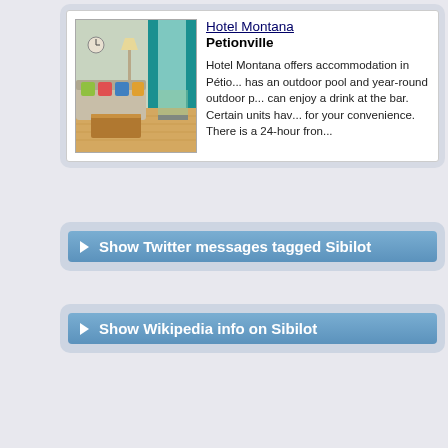[Figure (photo): Interior photo of Hotel Montana room with colorful cushions, teal curtains, and hardwood floors]
Hotel Montana
Petionville
Hotel Montana offers accommodation in Pétio... has an outdoor pool and year-round outdoor p... can enjoy a drink at the bar. Certain units hav... for your convenience. There is a 24-hour fron...
Show Twitter messages tagged Sibilot
Show Wikipedia info on Sibilot